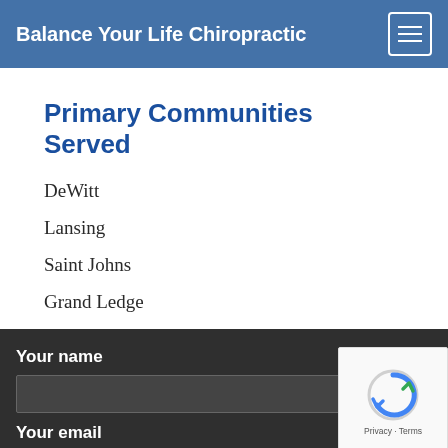Balance Your Life Chiropractic
Primary Communities Served
DeWitt
Lansing
Saint Johns
Grand Ledge
Your name
Your email